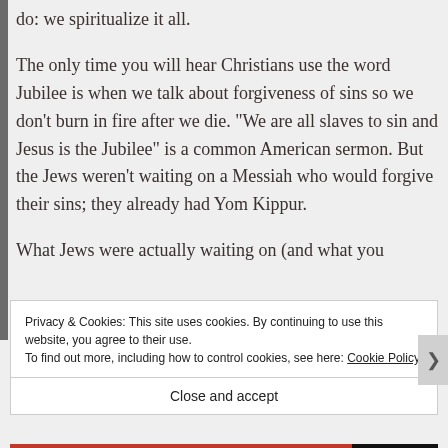do: we spiritualize it all.
The only time you will hear Christians use the word Jubilee is when we talk about forgiveness of sins so we don’t burn in fire after we die. “We are all slaves to sin and Jesus is the Jubilee” is a common American sermon. But the Jews weren’t waiting on a Messiah who would forgive their sins; they already had Yom Kippur.
What Jews were actually waiting on (and what you
Privacy & Cookies: This site uses cookies. By continuing to use this website, you agree to their use.
To find out more, including how to control cookies, see here: Cookie Policy
Close and accept